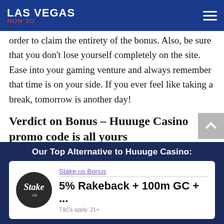LAS VEGAS how to
order to claim the entirety of the bonus. Also, be sure that you don't lose yourself completely on the site. Ease into your gaming venture and always remember that time is on your side. If you ever feel like taking a break, tomorrow is another day!
Verdict on Bonus – Huuuge Casino promo code is all yours
This social casino is certainly making waves with a string of exciting promotions. The latest Huuuge Casino bonus codes will have you jumping out of your seat. All that you have to do is create a valid account. From here, you'll be set to make the most of the latest offers. The daily bonus is free for all existing players
Our Top Alternative to Huuuge Casino:
Stake.us Bonus
5% Rakeback + 100m GC + ...
T&Cs apply. 21+